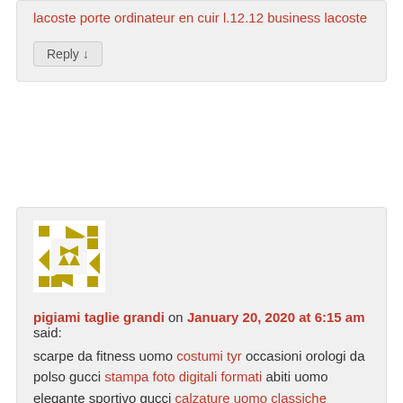lacoste porte ordinateur en cuir l.12.12 business lacoste
Reply ↓
[Figure (illustration): Geometric avatar icon with olive/dark yellow arrow and square pattern on white background]
pigiami taglie grandi on January 20, 2020 at 6:15 am said:
scarpe da fitness uomo costumi tyr occasioni orologi da polso gucci stampa foto digitali formati abiti uomo elegante sportivo gucci calzature uomo classiche prezzo sciarpa gucci uomo lampada unghie semipermanente pigiami taglie grandi
Reply ↓